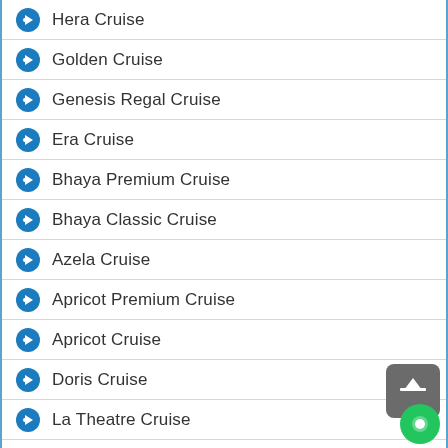Hera Cruise
Golden Cruise
Genesis Regal Cruise
Era Cruise
Bhaya Premium Cruise
Bhaya Classic Cruise
Azela Cruise
Apricot Premium Cruise
Apricot Cruise
Doris Cruise
La Theatre Cruise